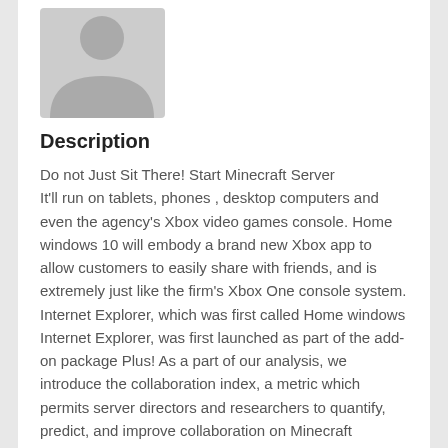[Figure (illustration): Default user avatar placeholder — grey silhouette of a person on white background]
Description
Do not Just Sit There! Start Minecraft Server
It'll run on tablets, phones , desktop computers and even the agency's Xbox video games console. Home windows 10 will embody a brand new Xbox app to allow customers to easily share with friends, and is extremely just like the firm's Xbox One console system. Internet Explorer, which was first called Home windows Internet Explorer, was first launched as part of the add-on package Plus! As a part of our analysis, we introduce the collaboration index, a metric which permits server directors and researchers to quantify, predict, and improve collaboration on Minecraft servers. Mr Myerson additionally introduced the launch of the Home windows Insider Program, which can enable Microsoft followers and customers to get early variations of the new software program and turn into part of the development team by testing Windows 10 and suggesting improvements. Minecraft Servers Know-how needs to get out of the best way. Geoff Blaber of technology analysts CCS Insights also noted the necessity for Microsoft to regain help after Windows 8. Home...